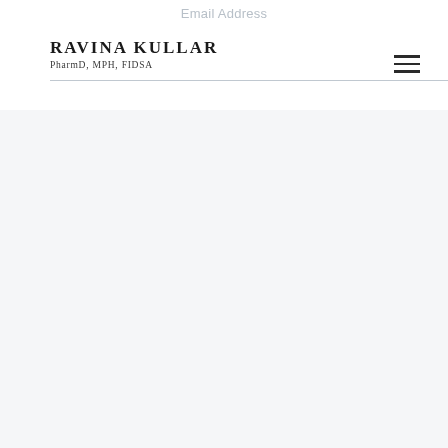Email Address
RAVINA KULLAR
PharmD, MPH, FIDSA
[Figure (other): Hamburger menu icon (three horizontal lines) in top right corner]
Subject
Type your subject
Your Message
Type your message